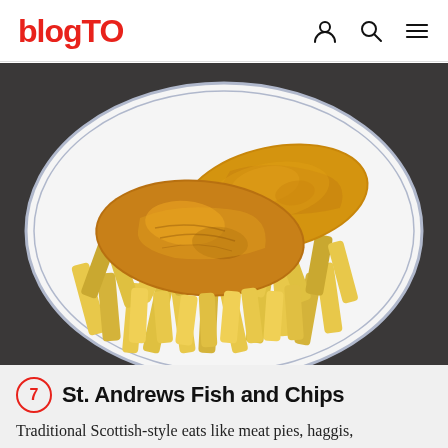blogTO
[Figure (photo): A white ceramic plate with a blue rim containing battered fish and thick-cut chips (fries) served on a dark gray background — classic British/Scottish fish and chips presentation.]
7 St. Andrews Fish and Chips
Traditional Scottish-style eats like meat pies, haggis,